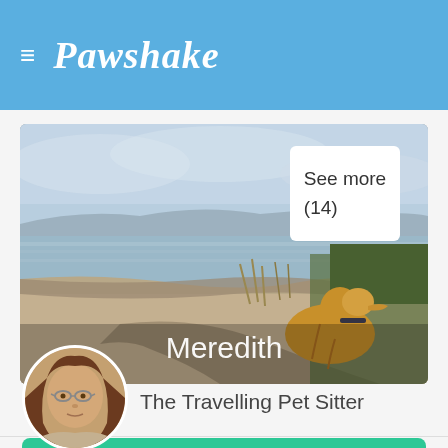≡ Pawshake
[Figure (photo): A long-haired golden dog sitting on a beach path looking out over a sandy beach with calm water and hills in the background. Overlaid text reads 'Meredith'. A 'See more (14)' white box is in the top right corner.]
[Figure (photo): Circular profile photo of a woman with long brown hair and glasses]
The Travelling Pet Sitter
Contact Meredith